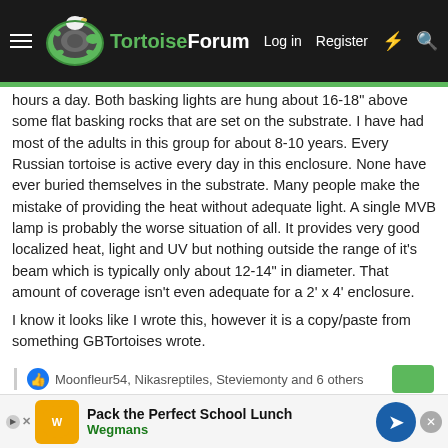TortoiseForum — Log in  Register
hours a day. Both basking lights are hung about 16-18" above some flat basking rocks that are set on the substrate. I have had most of the adults in this group for about 8-10 years. Every Russian tortoise is active every day in this enclosure. None have ever buried themselves in the substrate. Many people make the mistake of providing the heat without adequate light. A single MVB lamp is probably the worse situation of all. It provides very good localized heat, light and UV but nothing outside the range of it's beam which is typically only about 12-14" in diameter. That amount of coverage isn't even adequate for a 2' x 4' enclosure.
I know it looks like I wrote this, however it is a copy/paste from something GBTortoises wrote.
Moonfleur54, Nikasreptiles, Steviemonty and 6 others
Pack the Perfect School Lunch — Wegmans